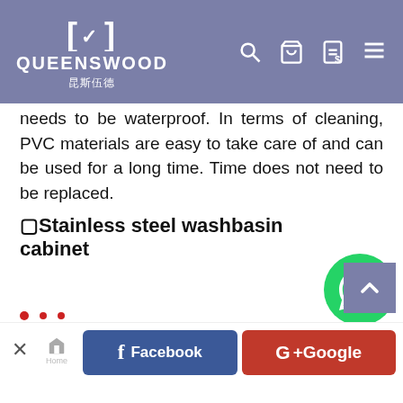QUEENSWOOD 昆斯伍德
needs to be waterproof. In terms of cleaning, PVC materials are easy to take care of and can be used for a long time. Time does not need to be replaced.
⬜Stainless steel washbasin cabinet
The biggest feature of the stainless steel washbasin cabinet is that it will never change color. No matter what other materials the washbasin counter surface is, it will become old after a long time of use, but the stainless steel washbasin cabinet will not be like this. Just rub it in and it will restore its original luster immediately.
[Figure (logo): WhatsApp green circular button with phone icon]
[Figure (other): Back to top button, grey-blue with upward chevron]